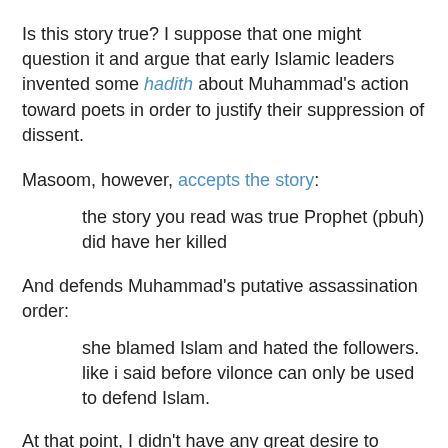Is this story true? I suppose that one might question it and argue that early Islamic leaders invented some hadith about Muhammad's action toward poets in order to justify their suppression of dissent.
Masoom, however, accepts the story:
the story you read was true Prophet (pbuh) did have her killed
And defends Muhammad's putative assassination order:
she blamed Islam and hated the followers. like i said before vilonce can only be used to defend Islam.
At that point, I didn't have any great desire to continue our 'discussion', for I wouldn't want to be accused by Masoom of blaming Islam or hating its followers, so I posted no reply and thus had to forego Masoom's factual evidence that Mohamed Atta and his companions were not really (radical) Muslims or that Osama bin Laden was lying when he